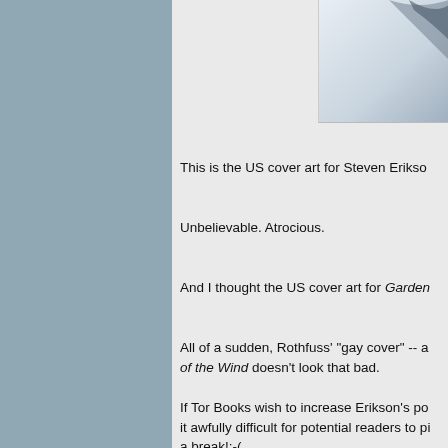[Figure (photo): Partial view of a book cover image in the upper right corner, showing a light-colored illustration.]
This is the US cover art for Steven Erikso...
Unbelievable. Atrocious.
And I thought the US cover art for Garden...
All of a sudden, Rothfuss' "gay cover" -- a... of the Wind doesn't look that bad.
If Tor Books wish to increase Erikson's po... it awfully difficult for potential readers to pi... a break!:-(
Just scroll down a bit to see Transworld's... Transworld decided to change the covers... Bonehunters' paperback release. . .